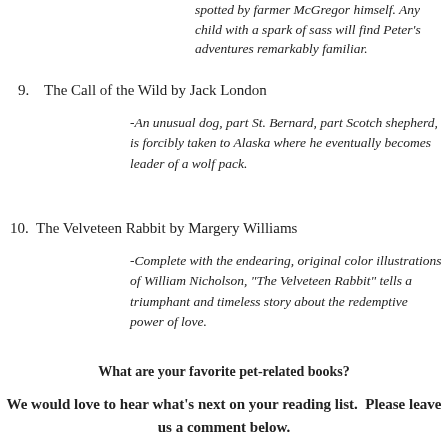spotted by farmer McGregor himself. Any child with a spark of sass will find Peter's adventures remarkably familiar.
9.   The Call of the Wild by Jack London
-An unusual dog, part St. Bernard, part Scotch shepherd, is forcibly taken to Alaska where he eventually becomes leader of a wolf pack.
10.  The Velveteen Rabbit by Margery Williams
-Complete with the endearing, original color illustrations of William Nicholson, "The Velveteen Rabbit" tells a triumphant and timeless story about the redemptive power of love.
What are your favorite pet-related books?
We would love to hear what's next on your reading list.  Please leave us a comment below.